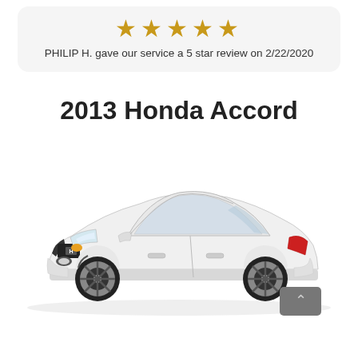[Figure (other): Five gold stars rating display inside a rounded light gray card]
PHILIP H. gave our service a 5 star review on 2/22/2020
2013 Honda Accord
[Figure (photo): White 2013 Honda Accord coupe photographed from a front three-quarter angle on a white background]